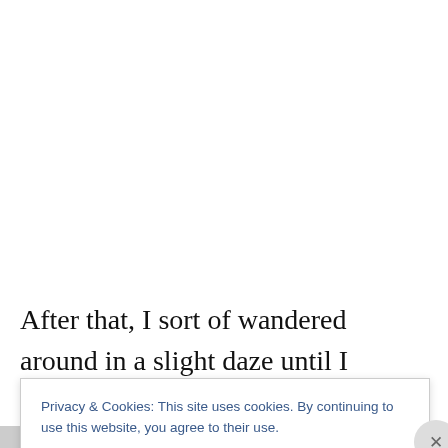After that, I sort of wandered around in a slight daze until I bumped into a lovely chap called Alistair Sims, who I
Privacy & Cookies: This site uses cookies. By continuing to use this website, you agree to their use.
To find out more, including how to control cookies, see here: Cookie Policy
Close and accept
ALISTAIR SIMS